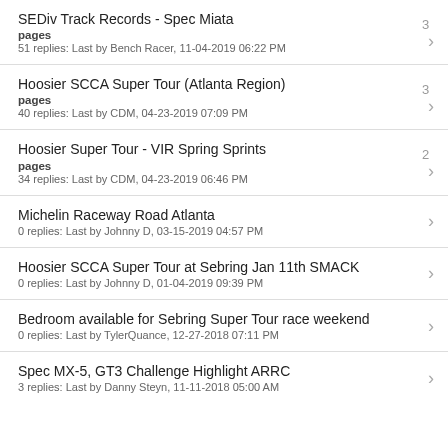SEDiv Track Records - Spec Miata
pages
51 replies: Last by Bench Racer, 11-04-2019 06:22 PM
Hoosier SCCA Super Tour (Atlanta Region)
pages
40 replies: Last by CDM, 04-23-2019 07:09 PM
Hoosier Super Tour - VIR Spring Sprints
pages
34 replies: Last by CDM, 04-23-2019 06:46 PM
Michelin Raceway Road Atlanta
0 replies: Last by Johnny D, 03-15-2019 04:57 PM
Hoosier SCCA Super Tour at Sebring Jan 11th SMACK
0 replies: Last by Johnny D, 01-04-2019 09:39 PM
Bedroom available for Sebring Super Tour race weekend
0 replies: Last by TylerQuance, 12-27-2018 07:11 PM
Spec MX-5, GT3 Challenge Highlight ARRC
3 replies: Last by Danny Steyn, 11-11-2018 05:00 AM